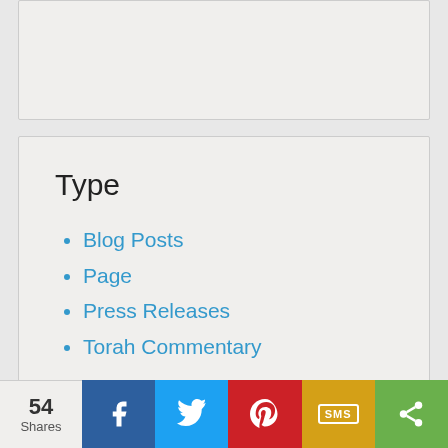Type
Blog Posts
Page
Press Releases
Torah Commentary
54 Shares